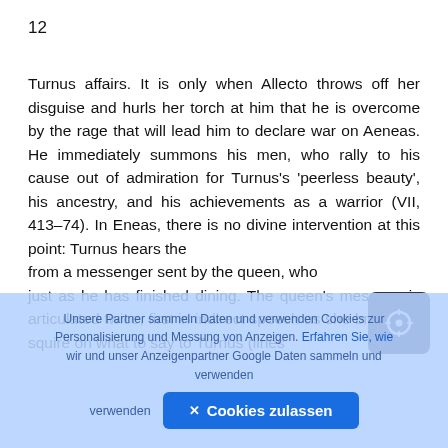12
Turnus affairs. It is only when Allecto throws off her disguise and hurls her torch at him that he is overcome by the rage that will lead him to declare war on Aeneas. He immediately summons his men, who rally to his cause out of admiration for Turnus's 'peerless beauty', his ancestry, and his achievements as a warrior (VII, 413–74). In Eneas, there is no divine intervention at this point: Turnus hears the from a messenger sent by the queen, who just as he has finished dining. The queen's message is articulated twice, first in indirect speech as she briefs her squire on what to say to Turnus (lines
Unsere Partner sammeln Daten und verwenden Cookies zur Personalisierung und Messung von Anzeigen. Erfahren Sie, wie wir und unser Anzeigenpartner Google Daten sammeln und verwenden
✕ Cookies zulassen